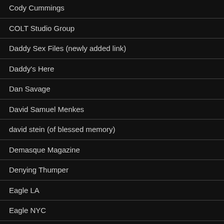Cody Cummings
COLT Studio Group
Daddy Sex Files (newly added link)
Daddy's Here
Dan Savage
David Samuel Menkes
david stein (of blessed memory)
Demasque Magazine
Denying Thumper
Eagle LA
Eagle NYC
Eric Deman
Extra Big Dicks